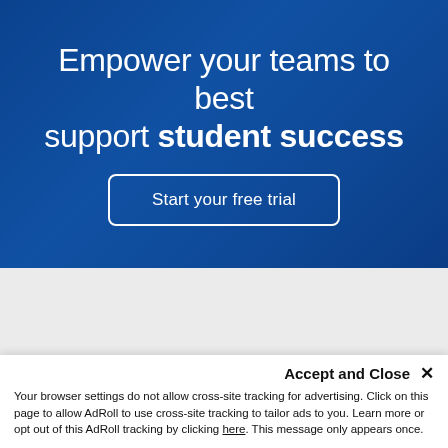Empower your teams to best support student success
Start your free trial
[Figure (screenshot): Gray placeholder section below the hero banner]
A catalyst for continuous improvement
Accept and Close ✕
Your browser settings do not allow cross-site tracking for advertising. Click on this page to allow AdRoll to use cross-site tracking to tailor ads to you. Learn more or opt out of this AdRoll tracking by clicking here. This message only appears once.